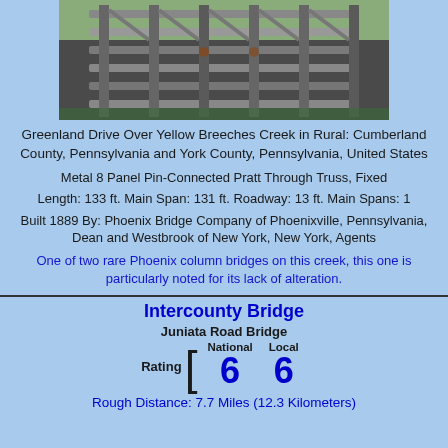[Figure (photo): Close-up photo of a metal truss bridge structure showing metal rails and beams]
Greenland Drive Over Yellow Breeches Creek in Rural: Cumberland County, Pennsylvania and York County, Pennsylvania, United States
Metal 8 Panel Pin-Connected Pratt Through Truss, Fixed
Length: 133 ft. Main Span: 131 ft. Roadway: 13 ft. Main Spans: 1
Built 1889 By: Phoenix Bridge Company of Phoenixville, Pennsylvania, Dean and Westbrook of New York, New York, Agents
One of two rare Phoenix column bridges on this creek, this one is particularly noted for its lack of alteration.
Intercounty Bridge
Juniata Road Bridge
Rating National 6  Local 6
Rough Distance: 7.7 Miles (12.3 Kilometers)